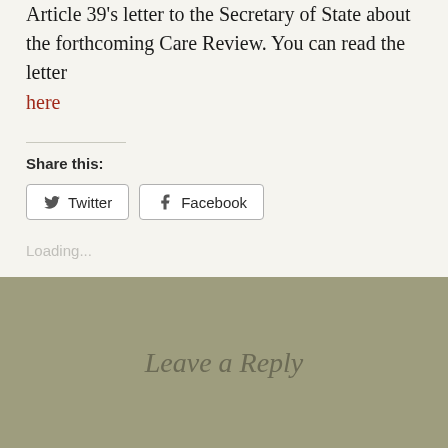Article 39's letter to the Secretary of State about the forthcoming Care Review. You can read the letter here
Share this:
Twitter  Facebook
Loading...
Leave a Reply